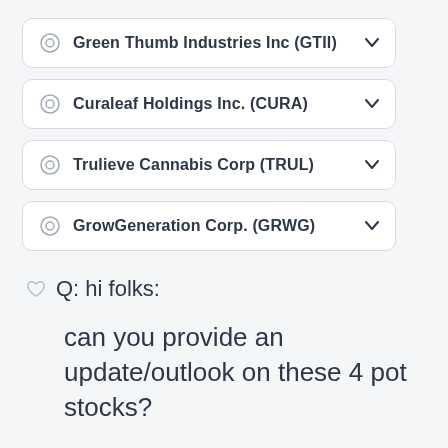Green Thumb Industries Inc (GTII)
Curaleaf Holdings Inc. (CURA)
Trulieve Cannabis Corp (TRUL)
GrowGeneration Corp. (GRWG)
Q: hi folks:
can you provide an update/outlook on these 4 pot stocks?